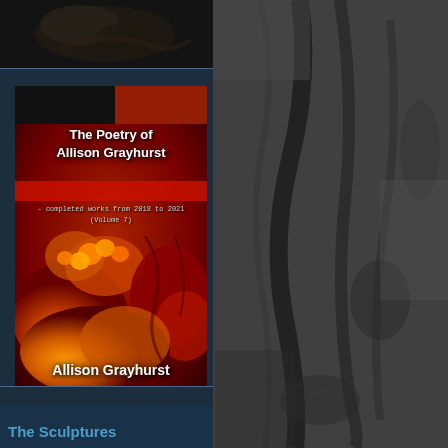[Figure (photo): Top strip photo: dark textured close-up image (fingers or organic form), monochrome brownish-dark tones]
[Figure (photo): Book cover for 'The Poetry of Allison Grayhurst – completed works from 2018 to 2021 (Volume 7)' by Allison Grayhurst. Dark red background with organic close-up photo of what appears to be orange/red stones or biological forms. Author name at bottom in white bold text.]
The Poetry of Allison Grayhurst
- completed works from 2018 to 2021 (Volume 7)
Allison Grayhurst
[Figure (photo): Right side background: dark grey cracked/peeling rock or bark texture, high contrast black and white]
The Sculptures